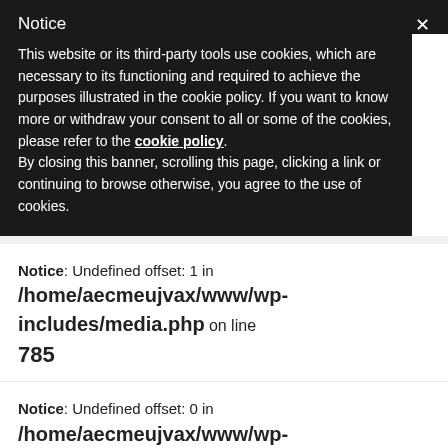Notice
This website or its third-party tools use cookies, which are necessary to its functioning and required to achieve the purposes illustrated in the cookie policy. If you want to know more or withdraw your consent to all or some of the cookies, please refer to the cookie policy.
By closing this banner, scrolling this page, clicking a link or continuing to browse otherwise, you agree to the use of cookies.
Notice: Undefined offset: 1 in /home/aecmeujvax/www/wp-includes/media.php on line 785
Notice: Undefined offset: 0 in /home/aecmeujvax/www/wp-includes/media.php on line 787